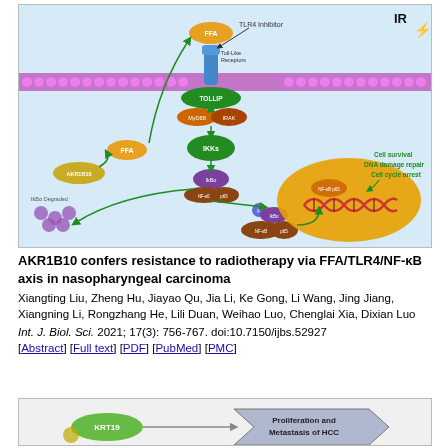[Figure (schematic): Biological pathway diagram showing AKR1B10 producing FFA which activates Toll-Like Receptors (TLR4) on cell membrane. TLR4 Inhibitor shown blocking the receptor. Downstream signaling through TOLLIP, MyD88, IRAK, IKKs, IkBa/NF-kB/p65 pathway. Cell nucleus shown with DNA double helix. Labeled outcomes: Cell survival, DNA damage repair, Cell cycle arrest. IR (ionizing radiation) shown in top right.]
AKR1B10 confers resistance to radiotherapy via FFA/TLR4/NF-κB axis in nasopharyngeal carcinoma
Xiangting Liu, Zheng Hu, Jiayao Qu, Jia Li, Ke Gong, Li Wang, Jing Jiang, Xiangning Li, Rongzhang He, Lili Duan, Weihao Luo, Chenglai Xia, Dixian Luo
Int. J. Biol. Sci. 2021; 17(3): 756-767. doi:10.7150/ijbs.52927
[Abstract] [Full text] [PDF] [PubMed] [PMC]
[Figure (schematic): Partial biological pathway diagram showing KRT19 and a node connecting to a box labeled 'Proliferation and Metastasis of HCC']